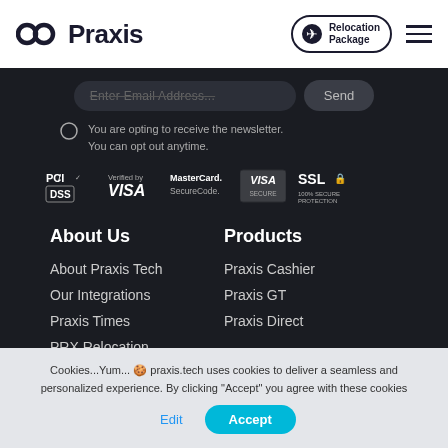[Figure (logo): Praxis logo with double-circle quotation mark icon and 'Praxis' wordmark]
[Figure (other): Relocation Package badge with airplane icon inside circle]
[Figure (other): Hamburger menu icon with three horizontal lines]
Enter Email Address...
Send
You are opting to receive the newsletter. You can opt out anytime.
[Figure (other): Payment security badges: PCI DSS, Verified by VISA, MasterCard SecureCode, VISA SECURE, SSL 100% Secure Protection]
About Us
Products
About Praxis Tech
Our Integrations
Praxis Times
PRX Relocation
Praxis Cashier
Praxis GT
Praxis Direct
Cookies...Yum... 🍪 praxis.tech uses cookies to deliver a seamless and personalized experience. By clicking "Accept" you agree with these cookies
Edit
Accept